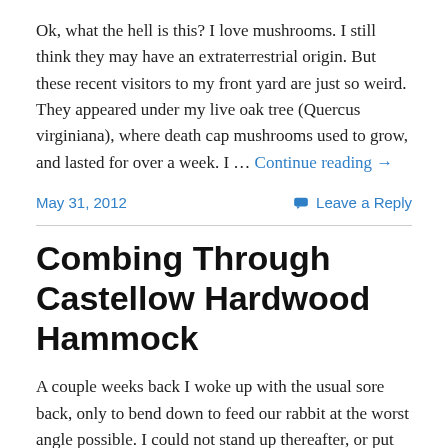Ok, what the hell is this? I love mushrooms. I still think they may have an extraterrestrial origin. But these recent visitors to my front yard are just so weird. They appeared under my live oak tree (Quercus virginiana), where death cap mushrooms used to grow, and lasted for over a week. I … Continue reading →
May 31, 2012
Leave a Reply
Combing Through Castellow Hardwood Hammock
A couple weeks back I woke up with the usual sore back, only to bend down to feed our rabbit at the worst angle possible. I could not stand up thereafter, or put any